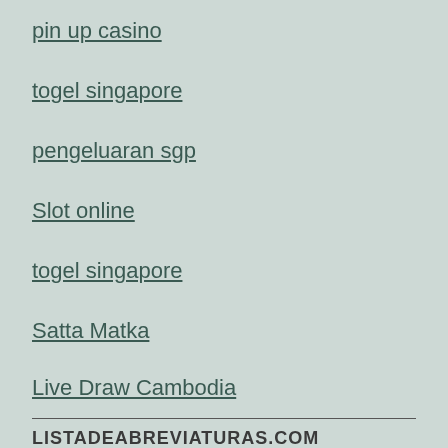pin up casino
togel singapore
pengeluaran sgp
Slot online
togel singapore
Satta Matka
Live Draw Cambodia
LISTADEABREVIATURAS.COM